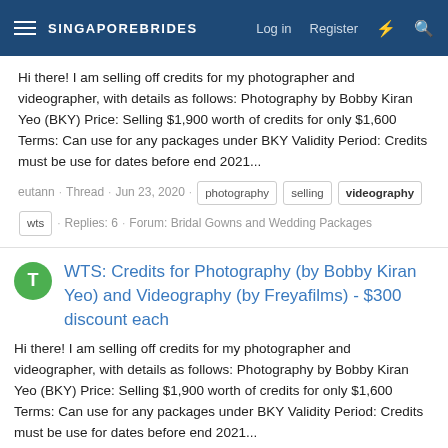SINGAPOREBRIDES  Log in  Register
Hi there! I am selling off credits for my photographer and videographer, with details as follows: Photography by Bobby Kiran Yeo (BKY) Price: Selling $1,900 worth of credits for only $1,600 Terms: Can use for any packages under BKY Validity Period: Credits must be use for dates before end 2021...
eutann · Thread · Jun 23, 2020 · photography · selling · videography · wts · Replies: 6 · Forum: Bridal Gowns and Wedding Packages
WTS: Credits for Photography (by Bobby Kiran Yeo) and Videography (by Freyafilms) - $300 discount each
Hi there! I am selling off credits for my photographer and videographer, with details as follows: Photography by Bobby Kiran Yeo (BKY) Price: Selling $1,900 worth of credits for only $1,600 Terms: Can use for any packages under BKY Validity Period: Credits must be use for dates before end 2021...
TEugene · Thread · Jun 21, 2020 · bobby · freya · package · photograhy · photographer · sell · videographer · videography ·